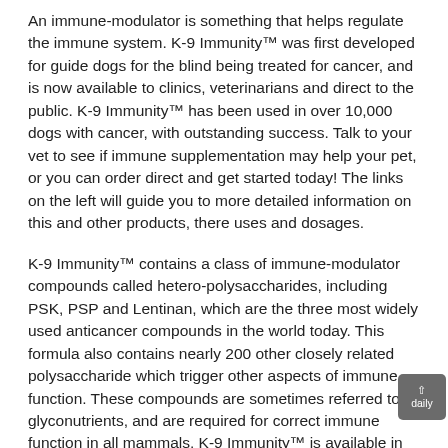An immune-modulator is something that helps regulate the immune system. K-9 Immunity™ was first developed for guide dogs for the blind being treated for cancer, and is now available to clinics, veterinarians and direct to the public. K-9 Immunity™ has been used in over 10,000 dogs with cancer, with outstanding success. Talk to your vet to see if immune supplementation may help your pet, or you can order direct and get started today! The links on the left will guide you to more detailed information on this and other products, there uses and dosages.
K-9 Immunity™ contains a class of immune-modulator compounds called hetero-polysaccharides, including PSK, PSP and Lentinan, which are the three most widely used anticancer compounds in the world today. This formula also contains nearly 200 other closely related polysaccharide which trigger other aspects of immune function. These compounds are sometimes referred to as glyconutrients, and are required for correct immune function in all mammals. K-9 Immunity™ is available in the USA (and many other countries) without a prescription. K-9 Immunity™ is an all-natural, non-toxic daily supplement made from 100% USDA Certified Organic materials. It is made in America at DogCancer.net FDA registered facility